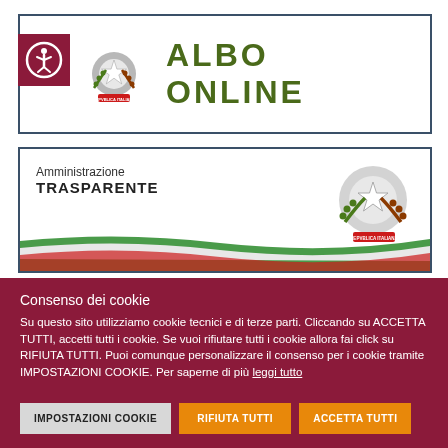[Figure (logo): Italian Republic coat of arms with accessibility icon, next to 'ALBO ONLINE' text header]
[Figure (logo): Amministrazione Trasparente banner with Italian flag wave and Republic coat of arms]
Consenso dei cookie
Su questo sito utilizziamo cookie tecnici e di terze parti. Cliccando su ACCETTA TUTTI, accetti tutti i cookie. Se vuoi rifiutare tutti i cookie allora fai click su RIFIUTA TUTTI. Puoi comunque personalizzare il consenso per i cookie tramite IMPOSTAZIONI COOKIE. Per saperne di più leggi tutto
IMPOSTAZIONI COOKIE
RIFIUTA TUTTI
ACCETTA TUTTI